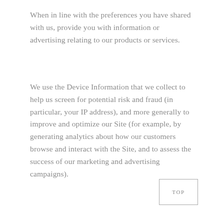When in line with the preferences you have shared with us, provide you with information or advertising relating to our products or services.
We use the Device Information that we collect to help us screen for potential risk and fraud (in particular, your IP address), and more generally to improve and optimize our Site (for example, by generating analytics about how our customers browse and interact with the Site, and to assess the success of our marketing and advertising campaigns).